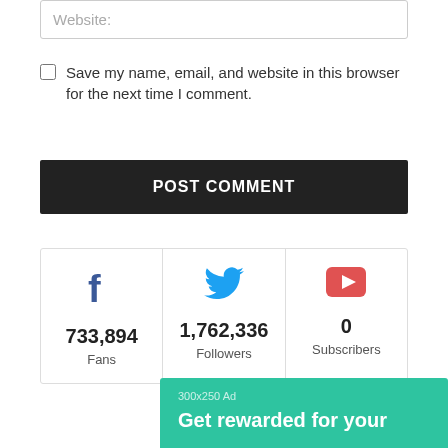Website:
Save my name, email, and website in this browser for the next time I comment.
POST COMMENT
[Figure (infographic): Social media stats: Facebook 733,894 Fans, Twitter 1,762,336 Followers, YouTube 0 Subscribers]
[Figure (infographic): Green ad banner: 300x250 Ad — Get rewarded for your...]